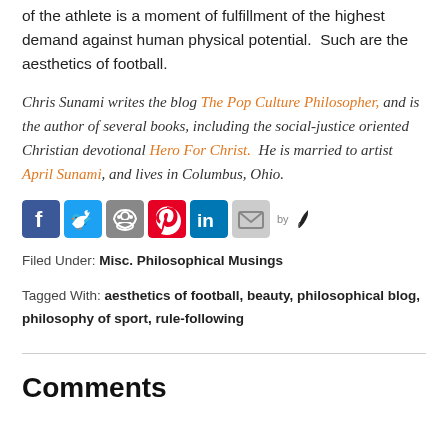of the athlete is a moment of fulfillment of the highest demand against human physical potential.  Such are the aesthetics of football.
Chris Sunami writes the blog The Pop Culture Philosopher, and is the author of several books, including the social-justice oriented Christian devotional Hero For Christ.  He is married to artist April Sunami, and lives in Columbus, Ohio.
[Figure (other): Social sharing icons row: Facebook, Twitter, Reddit, Pinterest, LinkedIn, Email, by feather signature]
Filed Under: Misc. Philosophical Musings
Tagged With: aesthetics of football, beauty, philosophical blog, philosophy of sport, rule-following
Comments